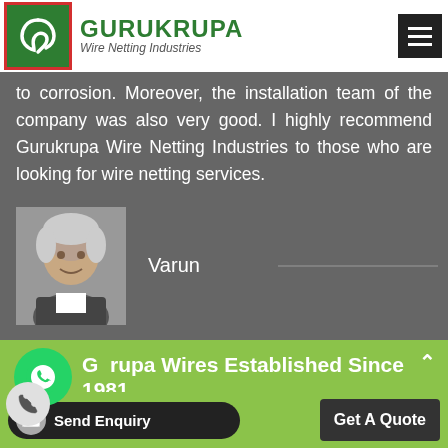GURUKRUPA Wire Netting Industries
to corrosion. Moreover, the installation team of the company was also very good. I highly recommend Gurukrupa Wire Netting Industries to those who are looking for wire netting services.
[Figure (photo): Portrait photo of reviewer Varun, elderly person]
Varun
Gurupa Wires Established Since 1981
Call Us : +91-9879148505   Or
Send Enquiry
Get A Quote